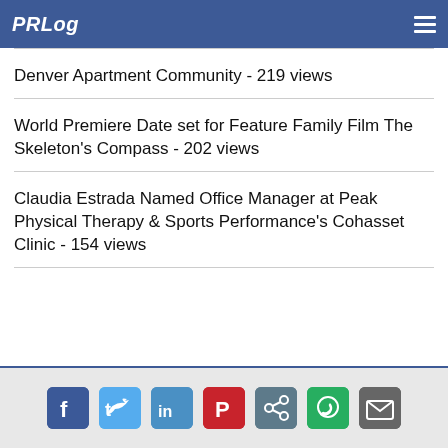PRLog
Denver Apartment Community - 219 views
World Premiere Date set for Feature Family Film The Skeleton's Compass - 202 views
Claudia Estrada Named Office Manager at Peak Physical Therapy & Sports Performance's Cohasset Clinic - 154 views
Social sharing icons: Facebook, Twitter, LinkedIn, Pinterest, Share, WhatsApp, Email